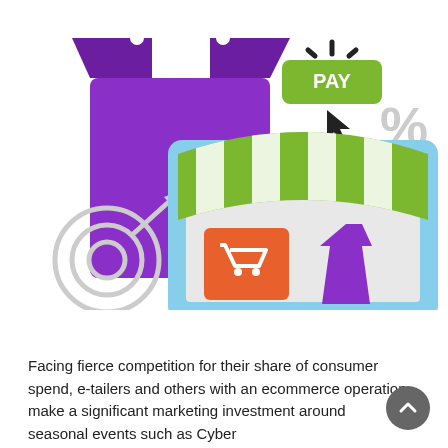[Figure (illustration): E-commerce themed illustration showing a purple shopping bag, a green PAY button with cursor, a gray percent sign, a laptop with a green-and-white striped market awning, an orange shopping cart icon, a purple dress, and a gray target/bullseye with arrow.]
Facing fierce competition for their share of consumer spend, e-tailers and others with an ecommerce operation make a significant marketing investment around seasonal events such as Cyber